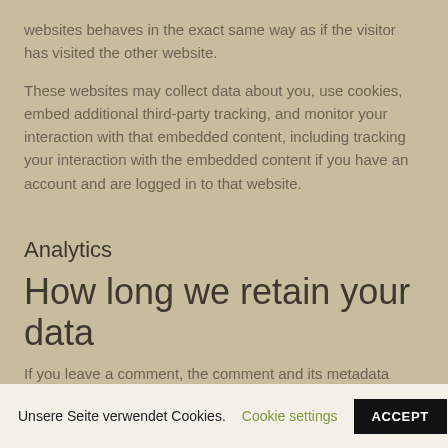websites behaves in the exact same way as if the visitor has visited the other website.
These websites may collect data about you, use cookies, embed additional third-party tracking, and monitor your interaction with that embedded content, including tracking your interaction with the embedded content if you have an account and are logged in to that website.
Analytics
How long we retain your data
If you leave a comment, the comment and its metadata...
Unsere Seite verwendet Cookies.
Cookie settings
ACCEPT